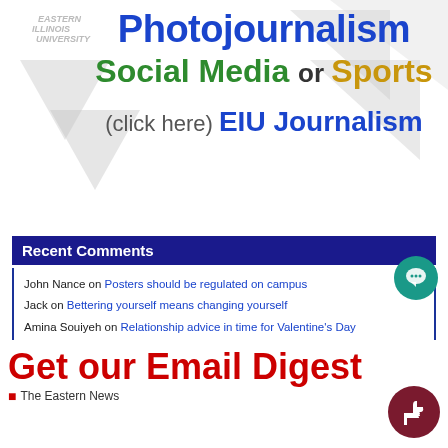[Figure (logo): Eastern Illinois University logo watermark with triangles in background]
Photojournalism Social Media or Sports (click here) EIU Journalism
Recent Comments
John Nance on Posters should be regulated on campus
Jack on Bettering yourself means changing yourself
Amina Souiyeh on Relationship advice in time for Valentine's Day
Carolyn Wilfred on Fake news has real consequences
The Strain Experience on Taking time for yourself is healthy, good for you
Get our Email Digest